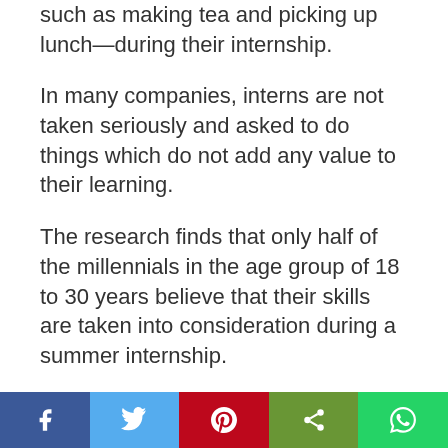such as making tea and picking up lunch—during their internship.
In many companies, interns are not taken seriously and asked to do things which do not add any value to their learning.
The research finds that only half of the millennials in the age group of 18 to 30 years believe that their skills are taken into consideration during a summer internship.
About a fifth of the respondents feel that internships have no or even a negative impact on future employment opportunities. Only three out of 10 millenials feel that